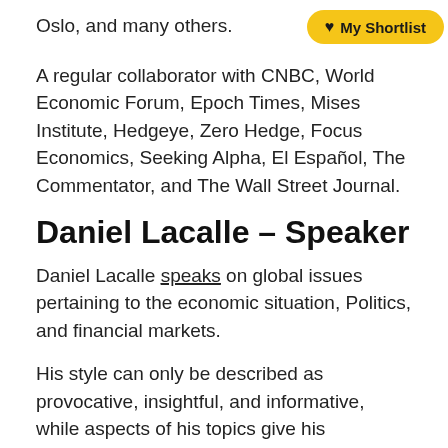Oslo, and many others.
[Figure (other): My Shortlist button with heart icon, yellow rounded rectangle]
A regular collaborator with CNBC, World Economic Forum, Epoch Times, Mises Institute, Hedgeye, Zero Hedge, Focus Economics, Seeking Alpha, El Español, The Commentator, and The Wall Street Journal.
Daniel Lacalle – Speaker
Daniel Lacalle speaks on global issues pertaining to the economic situation, Politics, and financial markets.
His style can only be described as provocative, insightful, and informative, while aspects of his topics give his audiences insights into global economics and monetary policy, taxation trends, inequality, unemployment, energy, technological substitution for fossil fuels, financial markets, and cryptocurrencies.